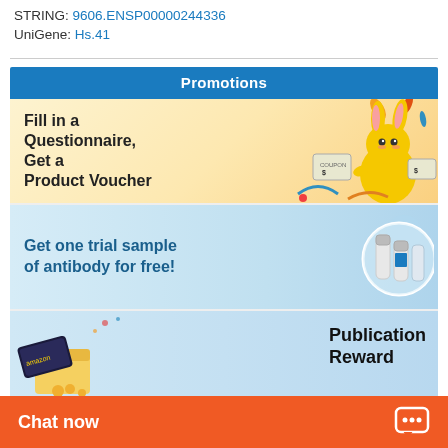STRING: 9606.ENSP00000244336
UniGene: Hs.41
Promotions
[Figure (illustration): Promotional banner: 'Fill in a Questionnaire, Get a Product Voucher' with cartoon yellow rabbit mascot holding coupons]
[Figure (illustration): Promotional banner: 'Get one trial sample of antibody for free!' with image of antibody vials/tubes]
[Figure (illustration): Promotional banner: 'Publication Reward' with image of gift cards/vouchers]
Chat now